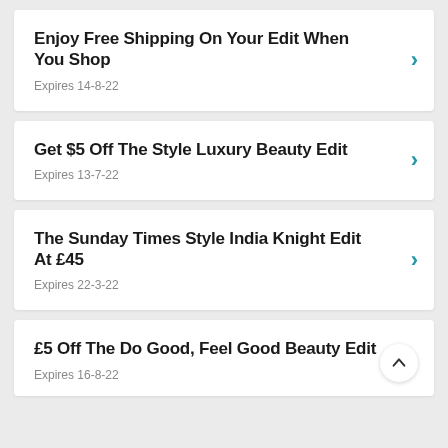Enjoy Free Shipping On Your Edit When You Shop
Expires 14-8-22
Get $5 Off The Style Luxury Beauty Edit
Expires 13-7-22
The Sunday Times Style India Knight Edit At £45
Expires 22-3-22
£5 Off The Do Good, Feel Good Beauty Edit
Expires 16-8-22